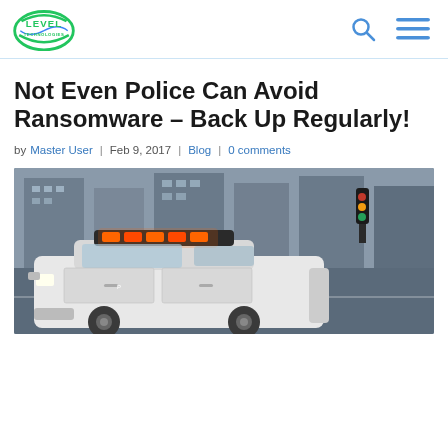Level Technologies logo, search icon, menu icon
Not Even Police Can Avoid Ransomware – Back Up Regularly!
by Master User | Feb 9, 2017 | Blog | 0 comments
[Figure (photo): A police car with flashing orange/red lights on the roof, photographed on a city street with buildings and traffic lights in the background.]